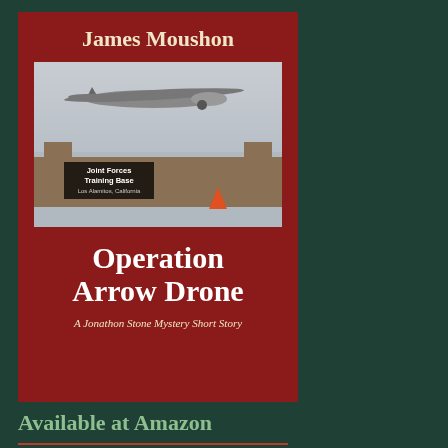[Figure (illustration): Book cover for 'Operation Arrow Drone' by James Moushon. Dark red background with author name at top, a photo of a drone aircraft flying over Joint Forces Training Base Los Alamitos, California, and the book title and series subtitle below.]
Available at Amazon
Operation Baja Special